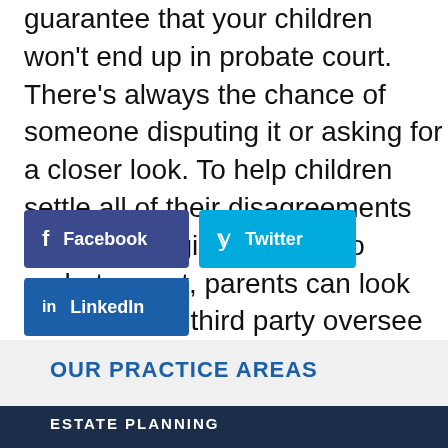guarantee that your children won't end up in probate court. There's always the chance of someone disputing it or asking for a closer look. To help children settle all of their disagreements without dragging things into probate court, parents can look into having a third party oversee the reading of the will.
[Figure (other): Social media share buttons: Facebook (dark blue), Twitter (cyan blue), LinkedIn (blue)]
OUR PRACTICE AREAS
ESTATE PLANNING